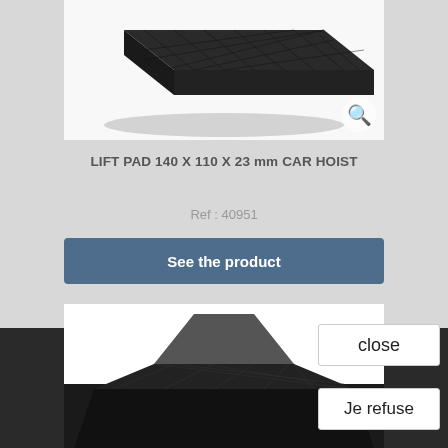[Figure (photo): Black rubber lift pad with diamond pattern surface, viewed from above at an angle, on white background]
LIFT PAD 140 X 110 X 23 mm CAR HOIST
Ref : 40951
See the product
[Figure (photo): Black rubber lift pad with diamond pattern surface, viewed from a different angle, on white and dark background]